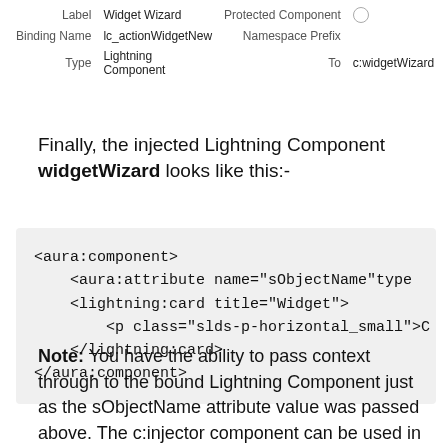| Label | Widget Wizard | Protected Component |  |
| Binding Name | lc_actionWidgetNew | Namespace Prefix |  |
| Type | Lightning Component | To | c:widgetWizard |
Finally, the injected Lightning Component widgetWizard looks like this:-
[Figure (screenshot): Code block showing aura:component XML with aura:attribute, lightning:card, p, and closing tags]
Note: You have the ability to pass context through to the bound Lightning Component just as the sObjectName attribute value was passed above. The c:injector component can be used in many other